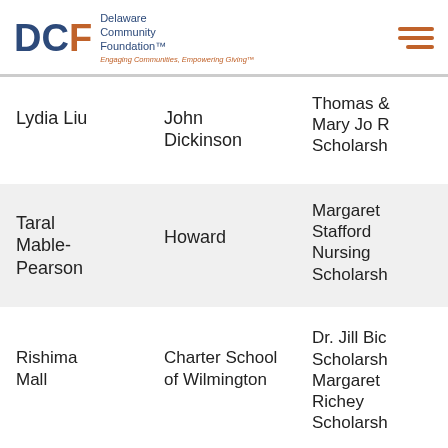DCF Delaware Community Foundation — Engaging Communities, Empowering Giving™
Lydia Liu
John Dickinson
Thomas & Mary Jo R Scholarsh
Taral Mable-Pearson
Howard
Margaret Stafford Nursing Scholarsh
Rishima Mall
Charter School of Wilmington
Dr. Jill Bic Scholarsh Margaret Richey Scholarsh